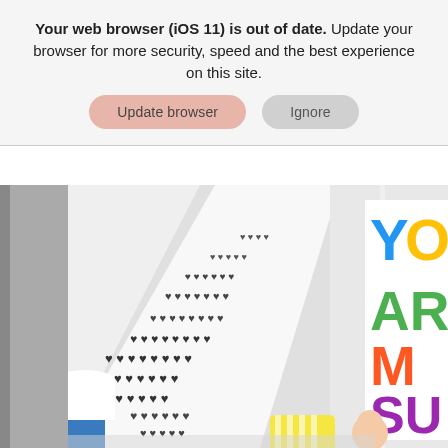Your web browser (iOS 11) is out of date. Update your browser for more security, speed and the best experience on this site.
[Figure (screenshot): Two UI buttons: 'Update browser' (pinkish-beige rounded) and 'Ignore' (grey rounded)]
[Figure (photo): Interior room photo showing a white wall with black heart pattern wallpaper and a colorful poster partially visible on the right reading 'YOU ARE MY SUNSHINE'. A lamp, pillows, and a baby are visible in the lower portion.]